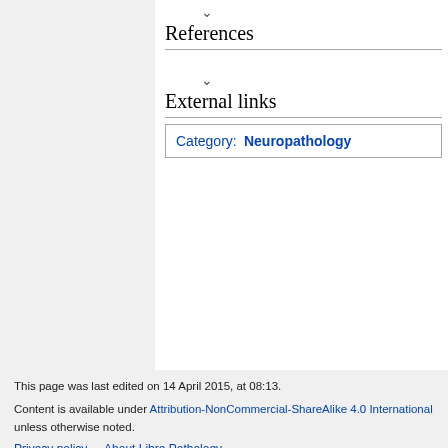References
External links
Category:  Neuropathology
This page was last edited on 14 April 2015, at 08:13.

Content is available under Attribution-NonCommercial-ShareAlike 4.0 International unless otherwise noted.

Privacy policy    About Libre Pathology

Disclaimers    Desktop